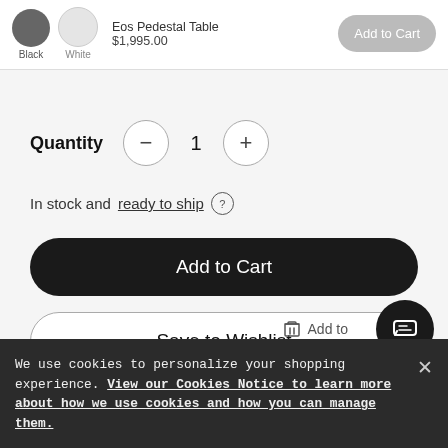[Figure (screenshot): Top product card strip showing Eos Pedestal Table product with black and white color swatches, price $1,995.00, and a grey 'Add to Cart' button]
Quantity  1
In stock and ready to ship
Add to Cart
Save to Wishlist
Add to
We use cookies to personalize your shopping experience. View our Cookies Notice to learn more about how we use cookies and how you can manage them.